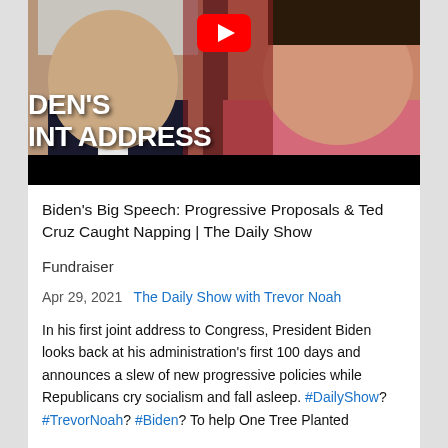[Figure (screenshot): YouTube video thumbnail showing Biden's Joint Address with two people visible and YouTube logo overlay. Text on thumbnail reads: DEN'S INT ADDRESS]
Biden's Big Speech: Progressive Proposals & Ted Cruz Caught Napping | The Daily Show
Fundraiser
Apr 29, 2021  The Daily Show with Trevor Noah
In his first joint address to Congress, President Biden looks back at his administration's first 100 days and announces a slew of new progressive policies while Republicans cry socialism and fall asleep. #DailyShow? #TrevorNoah? #Biden? To help One Tree Planted